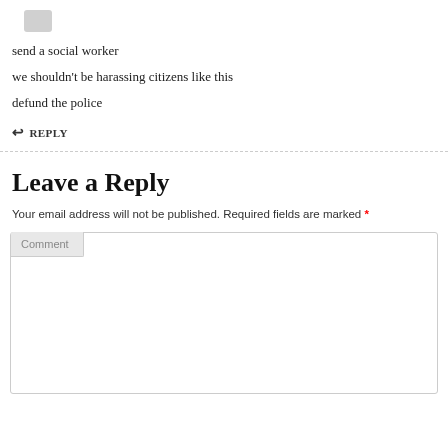[Figure (other): Small grey avatar/profile image placeholder]
send a social worker
we shouldn't be harassing citizens like this
defund the police
↩ REPLY
Leave a Reply
Your email address will not be published. Required fields are marked *
Comment